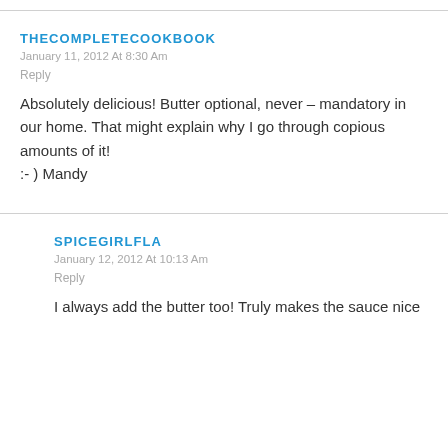THECOMPLETECOOKBOOK
January 11, 2012 At 8:30 Am
Reply
Absolutely delicious! Butter optional, never – mandatory in our home. That might explain why I go through copious amounts of it!
:-) Mandy
SPICEGIRLFLA
January 12, 2012 At 10:13 Am
Reply
I always add the butter too! Truly makes the sauce nice